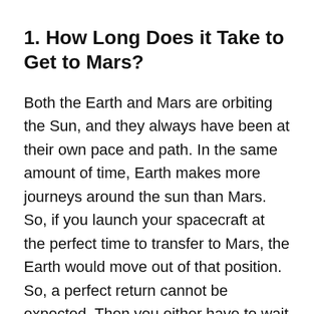1. How Long Does it Take to Get to Mars?
Both the Earth and Mars are orbiting the Sun, and they always have been at their own pace and path. In the same amount of time, Earth makes more journeys around the sun than Mars. So, if you launch your spacecraft at the perfect time to transfer to Mars, the Earth would move out of that position. So, a perfect return cannot be expected. Then you either have to wait until they align in similar positions